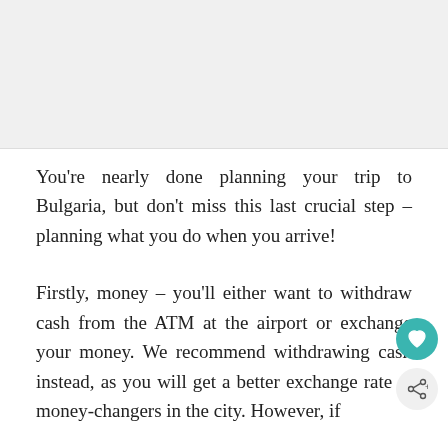[Figure (photo): Image placeholder at the top of the page, appears to be a travel photo related to Bulgaria]
You're nearly done planning your trip to Bulgaria, but don't miss this last crucial step – planning what you do when you arrive!
Firstly, money – you'll either want to withdraw cash from the ATM at the airport or exchange your money. We recommend withdrawing cash instead, as you will get a better exchange rate at money-changers in the city. However, if...